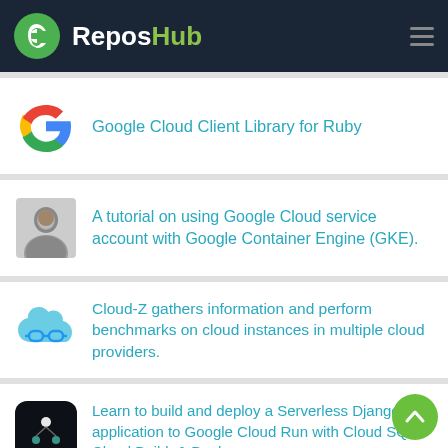ReposHub
Google Cloud Client Library for Ruby
A tutorial on using Google Cloud service account with Google Container Engine (GKE).
Cloud-Z gathers information and perform benchmarks on cloud instances in multiple cloud providers.
Learn to build and deploy a Serverless Django application to Google Cloud Run with Cloud SQL, Cloud Build, & Docker.
An ever-evolving, opinionated architecture, and